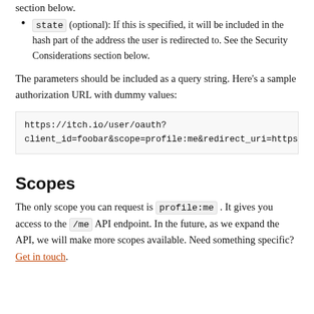section below.
state (optional): If this is specified, it will be included in the hash part of the address the user is redirected to. See the Security Considerations section below.
The parameters should be included as a query string. Here's a sample authorization URL with dummy values:
https://itch.io/user/oauth?client_id=foobar&scope=profile:me&redirect_uri=https
Scopes
The only scope you can request is profile:me . It gives you access to the /me API endpoint. In the future, as we expand the API, we will make more scopes available. Need something specific? Get in touch.